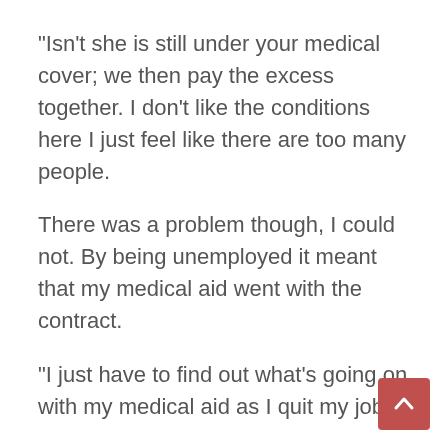“Isn’t she is still under your medical cover; we then pay the excess together. I don’t like the conditions here I just feel like there are too many people.
There was a problem though, I could not. By being unemployed it meant that my medical aid went with the contract.
“I just have to find out what’s going on with my medical aid as I quit my job!”
I told her and immediately she asked,
“You did what?”
She was so shocked,
“And you didn’t even bother to tell me, I am your